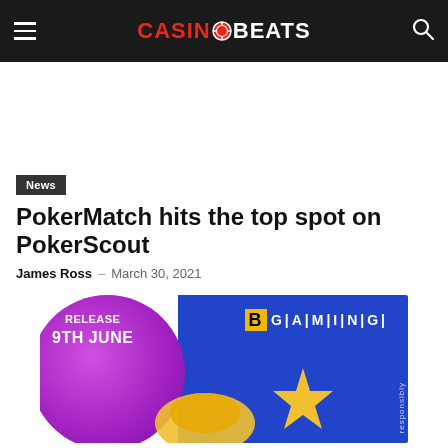CasinoBeats
News
PokerMatch hits the top spot on PokerScout
James Ross – March 30, 2021
[Figure (illustration): BGaming promotional banner with 'Release 9th June' text on a purple circle, BGaming logo, gold star decoration on blue background, and 'responsibly' text on the right side.]